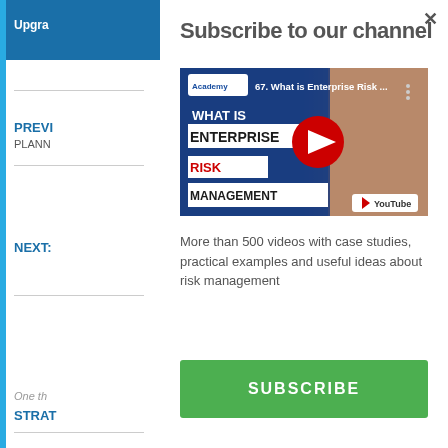Subscribe to our channel
[Figure (screenshot): YouTube video thumbnail: '67. What is Enterprise Risk ...' showing a man and text 'WHAT IS ENTERPRISE RISK MANAGEMENT' with YouTube play button]
More than 500 videos with case studies, practical examples and useful ideas about risk management
SUBSCRIBE
Upgra
PREVI
PLANN
NEXT:
One th
STRAT
Pingback
ACADEM